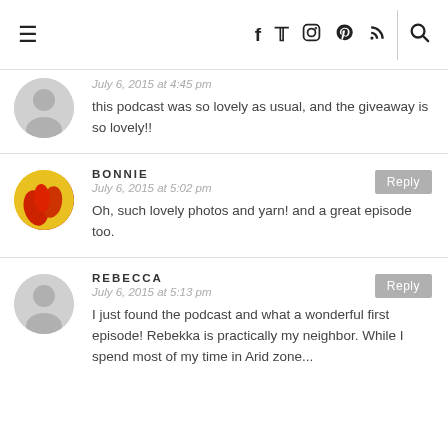≡ f t [instagram] [pinterest] [rss] [search]
July 6, 2015 at 4:45 pm
this podcast was so lovely as usual, and the giveaway is so lovely!!
BONNIE
July 6, 2015 at 5:02 pm
Oh, such lovely photos and yarn! and a great episode too.
REBECCA
July 6, 2015 at 5:13 pm
I just found the podcast and what a wonderful first episode! Rebekka is practically my neighbor. While I spend most of my time in Arid zone...